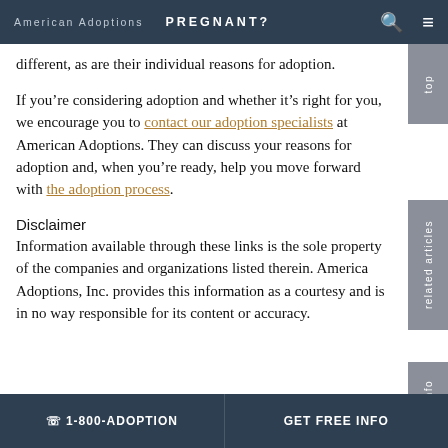American Adoptions   PREGNANT?
different, as are their individual reasons for adoption.
If you're considering adoption and whether it's right for you, we encourage you to contact our adoption specialists at American Adoptions. They can discuss your reasons for adoption and, when you're ready, help you move forward with the adoption process.
Disclaimer
Information available through these links is the sole property of the companies and organizations listed therein. America Adoptions, Inc. provides this information as a courtesy and is in no way responsible for its content or accuracy.
☎ 1-800-ADOPTION   GET FREE INFO